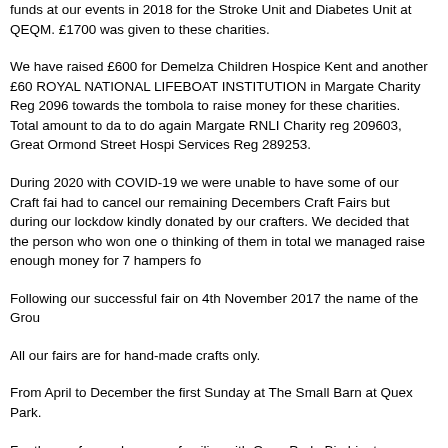funds at our events in 2018 for the Stroke Unit and Diabetes Unit at QEQM. £1700 was given to these charities.
We have raised £600 for Demelza Children Hospice Kent and another £60 ROYAL NATIONAL LIFEBOAT INSTITUTION in Margate Charity Reg 2096 towards the tombola to raise money for these charities. Total amount to da to do again Margate RNLI Charity reg 209603, Great Ormond Street Hospi Services Reg 289253.
During 2020 with COVID-19 we were unable to have some of our Craft fai had to cancel our remaining Decembers Craft Fairs but during our lockdow kindly donated by our crafters. We decided that the person who won one o thinking of them in total we managed raise enough money for 7 hampers fo
Following our successful fair on 4th November 2017 the name of the Grou
All our fairs are for hand-made crafts only.
From April to December the first Sunday at The Small Barn at Quex Park.
For those of you who are unfamiliar with Quex Park, Birchington, http://ww fire in 2016. It is a large venue with a brick veranda outside with picnic tabl refreshments but the Restaurant, which is a separate building at the front o addition, there are many attractions at Quex all year round and particularly wedding venue which attracts a considerable number of visitors througho